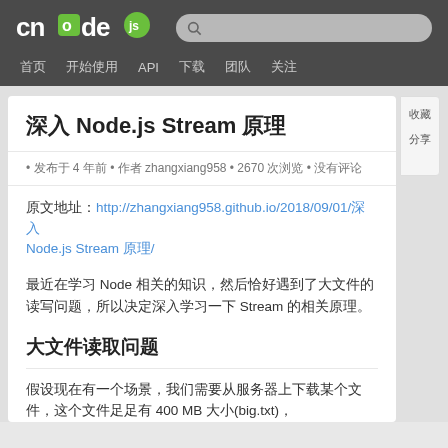cnode.js — navigation: 首页 开始使用 API 下载 团队 关注
深入 Node.js Stream 原理
• 发布于 4 年前 • 作者 zhangxiang958 • 2670 次浏览 • 没有评论
原文地址：http://zhangxiang958.github.io/2018/09/01/深入Node.js Stream 原理/
最近在学习 Node 相关的知识，然后恰好遇到了大文件的读写问题，所以决定深入学习一下 Stream 的相关原理。
大文件读取问题
假设现在有一个场景，我们需要从服务器上下载某个文件，这个文件足足有 400 MB 大小(big.txt)，